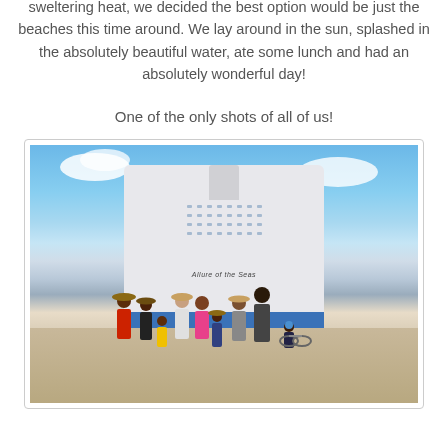sweltering heat, we decided the best option would be just the beaches this time around. We lay around in the sun, splashed in the absolutely beautiful water, ate some lunch and had an absolutely wonderful day!
One of the only shots of all of us!
[Figure (photo): Group photo of a family of about 10 people standing in front of the Allure of the Seas cruise ship at a port, on a sunny day with blue skies and clouds]